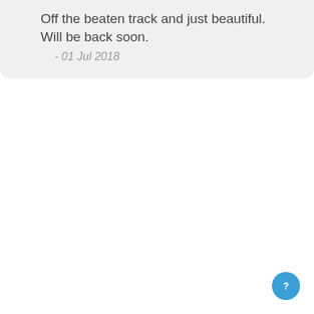Off the beaten track and just beautiful. Will be back soon.
- 01 Jul 2018